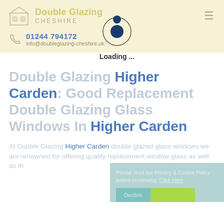Double Glazing CHESHIRE | 01244 794172 | info@doubleglazing-cheshire.uk
Double Glazing Higher Carden: Good Replacement Double Glazing Glass Windows In Higher Carden
[Figure (illustration): Loading spinner animation overlay with two dark blue dots orbiting inside a circle, with 'Loading ...' text below]
At Double Glazing Higher Carden double glazed glass windows we are renowned for offering quality replacement window glass as well as th
Please read our Privacy & Cookie Policy before continuing. Click Here | Decline